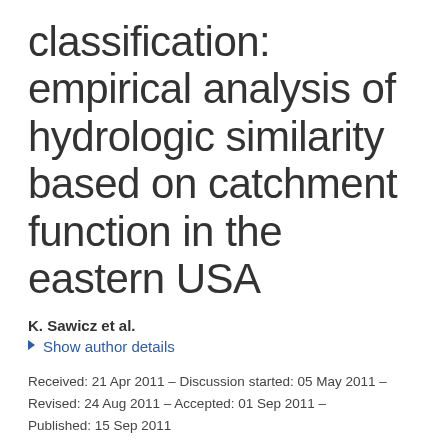classification: empirical analysis of hydrologic similarity based on catchment function in the eastern USA
K. Sawicz et al.
▶ Show author details
Received: 21 Apr 2011 – Discussion started: 05 May 2011 – Revised: 24 Aug 2011 – Accepted: 01 Sep 2011 – Published: 15 Sep 2011